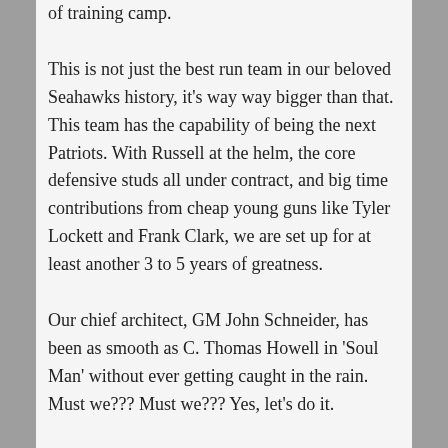of training camp.
This is not just the best run team in our beloved Seahawks history, it's way way bigger than that. This team has the capability of being the next Patriots. With Russell at the helm, the core defensive studs all under contract, and big time contributions from cheap young guns like Tyler Lockett and Frank Clark, we are set up for at least another 3 to 5 years of greatness.
Our chief architect, GM John Schneider, has been as smooth as C. Thomas Howell in 'Soul Man' without ever getting caught in the rain. Must we??? Must we??? Yes, let's do it.
Earl Thomas, Bobby Wagner, KJ Wright,